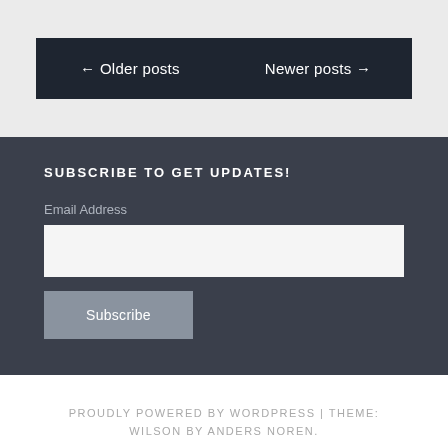← Older posts
Newer posts →
SUBSCRIBE TO GET UPDATES!
Email Address
Subscribe
PROUDLY POWERED BY WORDPRESS | THEME: WILSON BY ANDERS NOREN.